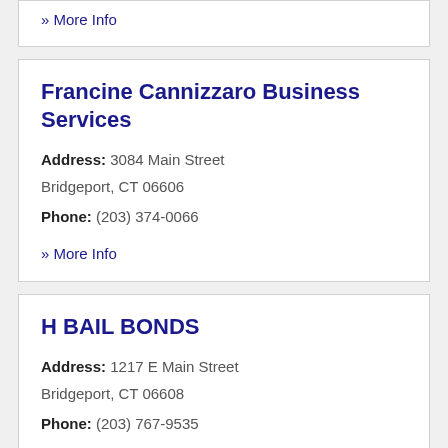» More Info
Francine Cannizzaro Business Services
Address: 3084 Main Street Bridgeport, CT 06606
Phone: (203) 374-0066
» More Info
H BAIL BONDS
Address: 1217 E Main Street Bridgeport, CT 06608
Phone: (203) 767-9535
» More Info